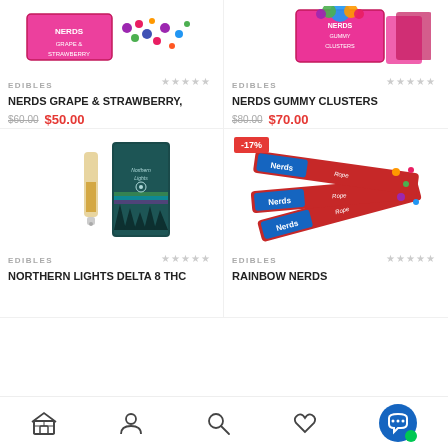[Figure (photo): Nerds Grape & Strawberry candy product image]
[Figure (photo): Nerds Gummy Clusters candy product image]
EDIBLES
NERDS GRAPE & STRAWBERRY,
$60.00 $50.00
EDIBLES
NERDS GUMMY CLUSTERS
$80.00 $70.00
[Figure (photo): Northern Lights Delta 8 THC vape cartridge product image]
[Figure (photo): Rainbow Nerds Rope candy product image with -17% discount badge]
EDIBLES
NORTHERN LIGHTS DELTA 8 THC
EDIBLES
RAINBOW NERDS